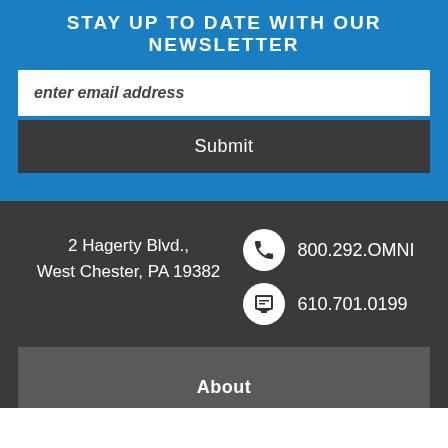STAY UP TO DATE WITH OUR NEWSLETTER
enter email address
Submit
2 Hagerty Blvd., West Chester, PA 19382
800.292.OMNI
610.701.0199
About